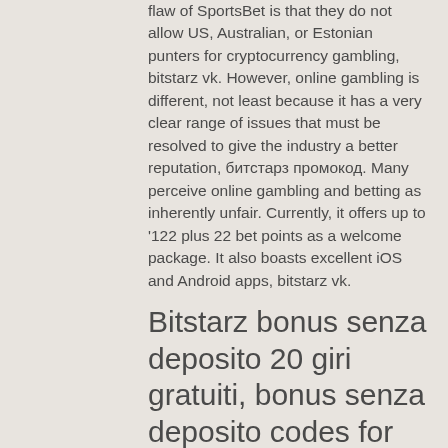flaw of SportsBet is that they do not allow US, Australian, or Estonian punters for cryptocurrency gambling, bitstarz vk. However, online gambling is different, not least because it has a very clear range of issues that must be resolved to give the industry a better reputation, битстарз промокод. Many perceive online gambling and betting as inherently unfair. Currently, it offers up to '122 plus 22 bet points as a welcome package. It also boasts excellent iOS and Android apps, bitstarz vk.
Bitstarz bonus senza deposito 20 giri gratuiti, bonus senza deposito codes for bitstarz casino
Currently, there is a large selection of various cryptocurrencies on the gambling market. For example, Ethereum, Litecoin, Dogecoin,